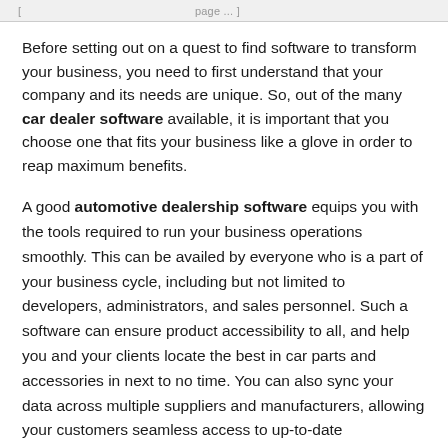[ ... continued from previous page ... ]
Before setting out on a quest to find software to transform your business, you need to first understand that your company and its needs are unique. So, out of the many car dealer software available, it is important that you choose one that fits your business like a glove in order to reap maximum benefits.
A good automotive dealership software equips you with the tools required to run your business operations smoothly. This can be availed by everyone who is a part of your business cycle, including but not limited to developers, administrators, and sales personnel. Such a software can ensure product accessibility to all, and help you and your clients locate the best in car parts and accessories in next to no time. You can also sync your data across multiple suppliers and manufacturers, allowing your customers seamless access to up-to-date